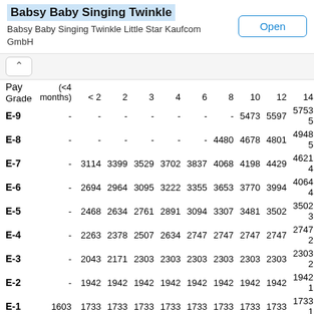[Figure (screenshot): App store banner showing 'Babsy Baby Singing Twinkle' app by Kaufcom GmbH with an Open button]
| Pay Grade | (<4 months) | < 2 | 2 | 3 | 4 | 6 | 8 | 10 | 12 | 14 |
| --- | --- | --- | --- | --- | --- | --- | --- | --- | --- | --- |
| E-9 | - | - | - | - | - | - | - | 5473 | 5597 | 5753 | 5… |
| E-8 | - | - | - | - | - | - | 4480 | 4678 | 4801 | 4948 | 5… |
| E-7 | - | 3114 | 3399 | 3529 | 3702 | 3837 | 4068 | 4198 | 4429 | 4621 | 4… |
| E-6 | - | 2694 | 2964 | 3095 | 3222 | 3355 | 3653 | 3770 | 3994 | 4064 | 4… |
| E-5 | - | 2468 | 2634 | 2761 | 2891 | 3094 | 3307 | 3481 | 3502 | 3502 | 3… |
| E-4 | - | 2263 | 2378 | 2507 | 2634 | 2747 | 2747 | 2747 | 2747 | 2747 | 2… |
| E-3 | - | 2043 | 2171 | 2303 | 2303 | 2303 | 2303 | 2303 | 2303 | 2303 | 2… |
| E-2 | - | 1942 | 1942 | 1942 | 1942 | 1942 | 1942 | 1942 | 1942 | 1942 | 1… |
| E-1 | 1603 | 1733 | 1733 | 1733 | 1733 | 1733 | 1733 | 1733 | 1733 | 1733 | 1… |
2020 Military Pay Chart for Active Duty Officer (less than 2 to over 40…